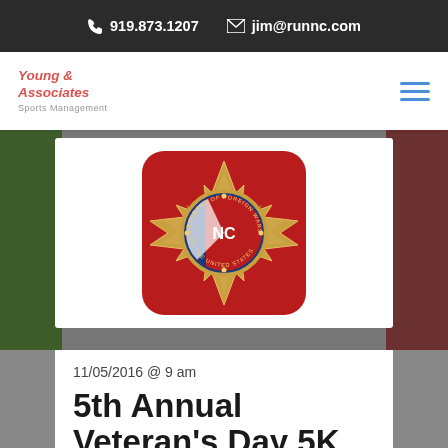919.873.1207  jim@runnc.com
[Figure (logo): Young & Associates Sports Management logo with red italic text]
[Figure (photo): Veterans of Foreign Wars of the United States North Carolina emblem/seal on red background, shown on a white card overlaid on a background photo of runners]
11/05/2016 @ 9 am
5th Annual Veteran's Day 5K